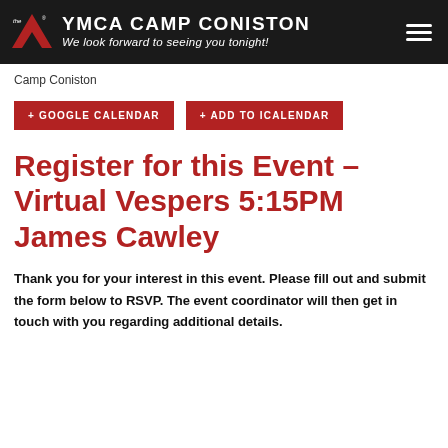YMCA CAMP CONISTON — We look forward to seeing you tonight!
Camp Coniston
+ GOOGLE CALENDAR
+ ADD TO ICALENDAR
Register for this Event – Virtual Vespers 5:15PM James Cawley
Thank you for your interest in this event. Please fill out and submit the form below to RSVP. The event coordinator will then get in touch with you regarding additional details.